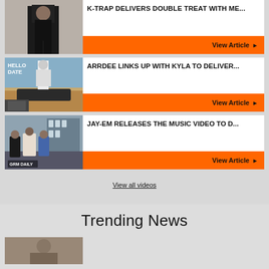[Figure (photo): Partial top article card with orange bar]
K-TRAP DELIVERS DOUBLE TREAT WITH ME...
View Article
ARRDEE LINKS UP WITH KYLA TO DELIVER...
View Article
JAY-EM RELEASES THE MUSIC VIDEO TO D...
View Article
View all videos
Trending News
[Figure (photo): Partial thumbnail of person at bottom]